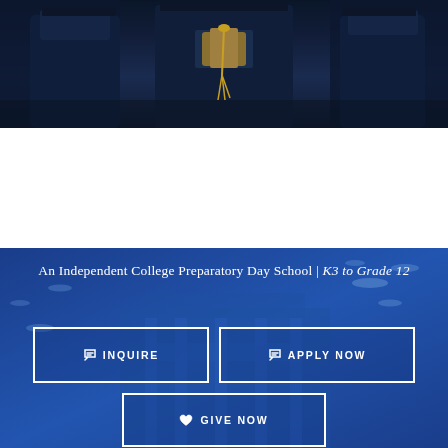[Figure (photo): Graduates in dark navy blue graduation gowns and caps, holding diplomas with gold tassels, photographed at a graduation ceremony]
An Independent College Preparatory Day School | K3 to Grade 12
INQUIRE
APPLY NOW
GIVE NOW